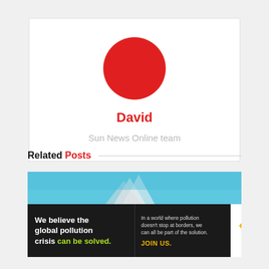[Figure (illustration): Red circle avatar placeholder for author David]
David
Sun News Online team
Related Posts
[Figure (photo): Partial photo showing blue sky and structure top, related posts image]
[Figure (infographic): Pure Earth advertisement banner: We believe the global pollution crisis can be solved. In a world where pollution doesn't stop at borders, we can all be part of the solution. JOIN US. Pure Earth logo.]